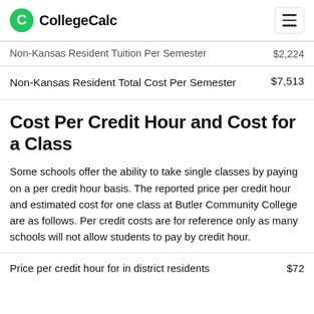CollegeCalc
| Non-Kansas Resident Tuition Per Semester | $2,224 |
| Non-Kansas Resident Total Cost Per Semester | $7,513 |
Cost Per Credit Hour and Cost for a Class
Some schools offer the ability to take single classes by paying on a per credit hour basis. The reported price per credit hour and estimated cost for one class at Butler Community College are as follows. Per credit costs are for reference only as many schools will not allow students to pay by credit hour.
| Price per credit hour for in district residents | $72 |